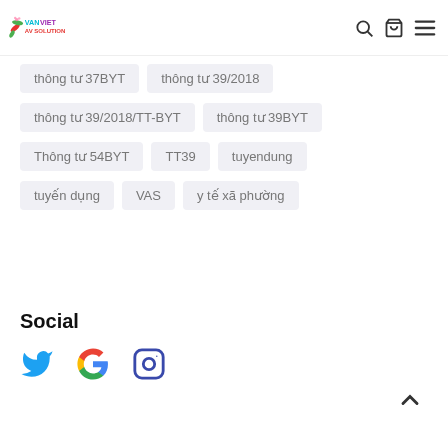Van Viet AV Solution
thông tư 37BYT
thông tư 39/2018
thông tư 39/2018/TT-BYT
thông tư 39BYT
Thông tư 54BYT
TT39
tuyendung
tuyến dụng
VAS
y tế xã phường
Social
[Figure (other): Social media icons: Twitter (bird), Google (G), Instagram (camera)]